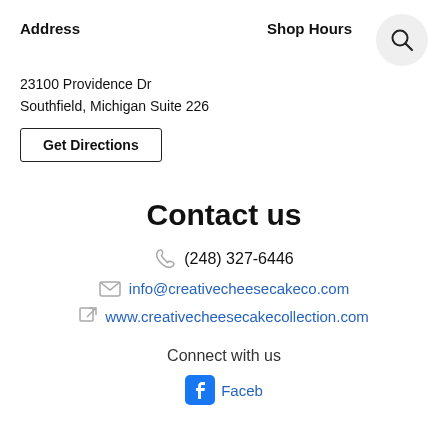Address
Shop Hours
23100 Providence Dr
Southfield, Michigan Suite 226
Get Directions
[Figure (illustration): Search magnifying glass icon in a circular button]
Contact us
(248) 327-6446
info@creativecheesecakeco.com
www.creativecheesecakecollection.com
Connect with us
Facebook